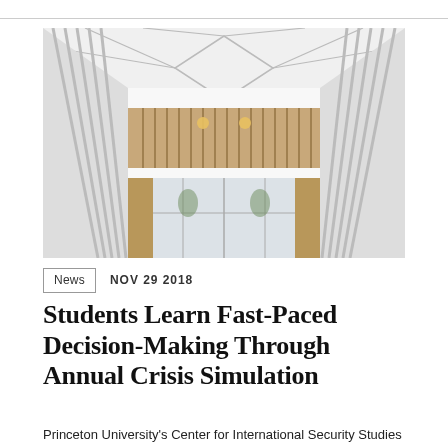[Figure (photo): Interior architectural photo of a modern building atrium viewed from above, showing a white ribbed ceiling with geometric skylight, white walls with vertical fins, wooden accents, and glass doors at the bottom]
News   NOV 29 2018
Students Learn Fast-Paced Decision-Making Through Annual Crisis Simulation
Princeton University's Center for International Security Studies